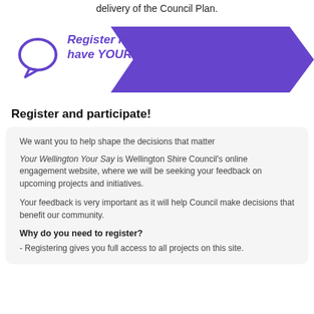delivery of the Council Plan.
[Figure (illustration): Purple banner with arrow/chevron shape on the right, a speech bubble icon on the left, and italic bold purple text reading 'Register here to have YOUR SAY!']
Register and participate!
We want you to help shape the decisions that matter
Your Wellington Your Say is Wellington Shire Council's online engagement website, where we will be seeking your feedback on upcoming projects and initiatives.
Your feedback is very important as it will help Council make decisions that benefit our community.
Why do you need to register?
- Registering gives you full access to all projects on this site.